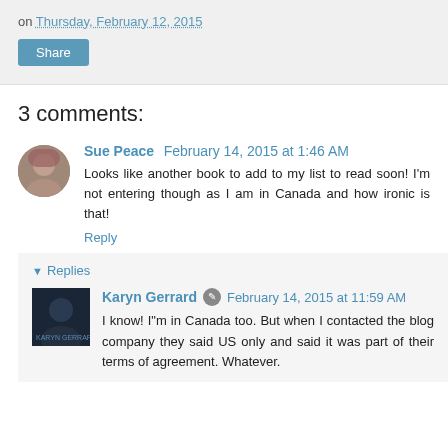on Thursday, February 12, 2015
Share
3 comments:
Sue Peace  February 14, 2015 at 1:46 AM
Looks like another book to add to my list to read soon! I'm not entering though as I am in Canada and how ironic is that!
Reply
▼ Replies
Karyn Gerrard  February 14, 2015 at 11:59 AM
I know! I"m in Canada too. But when I contacted the blog company they said US only and said it was part of their terms of agreement. Whatever.